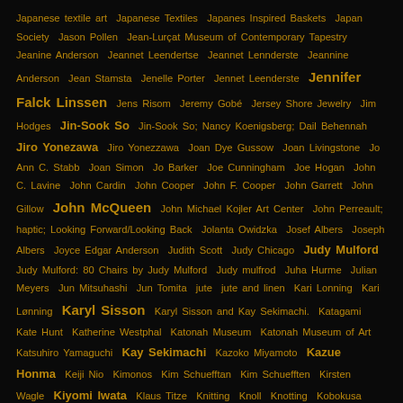Japanese textile art  Japanese Textiles  Japanes Inspired Baskets  Japan Society  Jason Pollen  Jean-Lurçat Museum of Contemporary Tapestry  Jeanine Anderson  Jeannet Leendertse  Jeannet Lennderste  Jeannine Anderson  Jean Stamsta  Jenelle Porter  Jennet Leenderste  Jennifer Falck Linssen  Jens Risom  Jeremy Gobé  Jersey Shore Jewelry  Jim Hodges  Jin-Sook So  Jin-Sook So; Nancy Koenigsberg; Dail Behennah  Jiro Yonezawa  Jiro Yonezzawa  Joan Dye Gussow  Joan Livingstone  Jo Ann C. Stabb  Joan Simon  Jo Barker  Joe Cunningham  Joe Hogan  John C. Lavine  John Cardin  John Cooper  John F. Cooper  John Garrett  John Gillow  John McQueen  John Michael Kojler Art Center  John Perreault; haptic; Looking Forward/Looking Back  Jolanta Owidzka  Josef Albers  Joseph Albers  Joyce Edgar Anderson  Judith Scott  Judy Chicago  Judy Mulford  Judy Mulford: 80 Chairs by Judy Mulford  Judy mulfrod  Juha Hurme  Julian Meyers  Jun Mitsuhashi  Jun Tomita  jute  jute and linen  Kari Lonning  Kari Lønning  Karyl Sisson  Karyl Sisson and Kay Sekimachi.  Katagami  Kate Hunt  Katherine Westphal  Katonah Museum  Katonah Museum of Art  Katsuhiro Yamaguchi  Kay Sekimachi  Kazoko Miyamoto  Kazue Honma  Keiji Nio  Kimonos  Kim Schuefftan  Kim Schuefften  Kirsten Wagle  Kiyomi Iwata  Klaus Titze  Knitting  Knoll  Knotting  Kobokusa  Koji Takaki  Korea Economic drilled through  Korean Art  Korean Textile  Kozo  Krystyna Wojtyna-Drouet  Kyle Norton  Kyoko Kuma  Kyoko Kuma  Kyoko Kumai; Hisako Sekijima  Kyoko Nitta  Kyra Cane  lace  LACMA  Lady Sings the Blues  Lands' End  Larence LaBianca  Large Basket